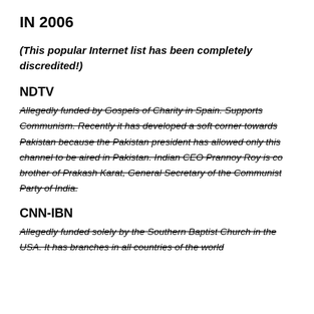IN 2006
(This popular Internet list has been completely discredited!)
NDTV
Allegedly funded by Gospels of Charity in Spain. Supports Communism. Recently it has developed a soft corner towards Pakistan because the Pakistan president has allowed only this channel to be aired in Pakistan. Indian CEO Prannoy Roy is co brother of Prakash Karat, General Secretary of the Communist Party of India.
CNN-IBN
Allegedly funded solely by the Southern Baptist Church in the USA. It has branches in all countries of the world